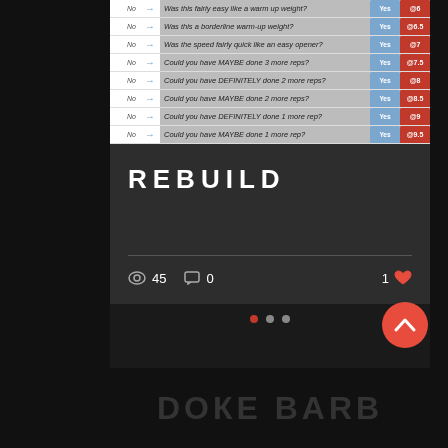| No |  | Question | Yes | RPE |
| --- | --- | --- | --- | --- |
| No |  | Was this fairly easy like a warm up weight? | Yes | @6 |
| No |  | Was this a borderline warm-up weight? | Yes | @6.5 |
| No |  | Was the speed fairly quick like an easy opener? | Yes | @7 |
| No |  | Could you have MAYBE done 3 more reps? | Yes | @7.5 |
| No |  | Could you have DEFINITELY done 2 more reps? | Yes | @8 |
| No |  | Could you have MAYBE done 2 more reps? | Yes | @8.5 |
| No |  | Could you have DEFINITELY done 1 more rep? | Yes | @9 |
| No |  | Could you have MAYBE done 1 more rep? | Yes | @9.5 |
REBUILD
45 views, 0 comments, 1 like